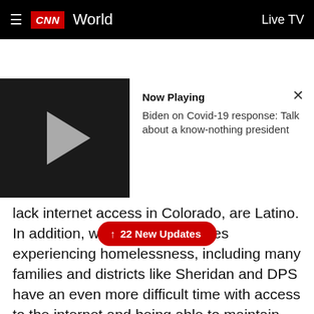CNN World  Live TV
[Figure (screenshot): Video player panel showing a play button on dark background on the left, and 'Now Playing' title with description 'Biden on Covid-19 response: Talk about a know-nothing president' on the right, with a close (X) button]
lines. Recent research from Colorado future center found that two thirds of students that lack internet access in Colorado, are Latino. In addition, we know that families experiencing homelessness, including many families and districts like Sheridan and DPS have an even more difficult time with access to the internet and being able to maintain that continuity of study for their kids without broadband without access. Students are unable to participate in remote learning. They're often unable to do their homework, if they're in school or in person. And they're more likely to disengage, and more likely to fall behind" Polis said.
↑ 22 New Updates